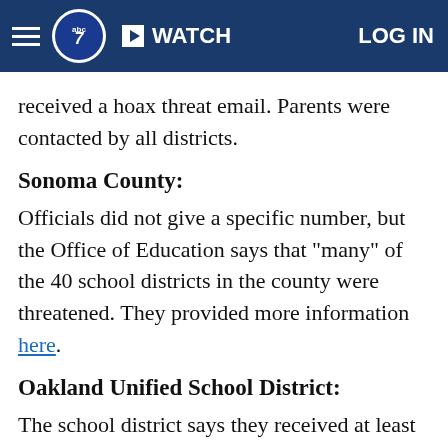ABC7 News — WATCH | LOG IN
received a hoax threat email. Parents were contacted by all districts.
Sonoma County:
Officials did not give a specific number, but the Office of Education says that "many" of the 40 school districts in the county were threatened. They provided more information here.
Oakland Unified School District:
The school district says they received at least one of these emails but it did not disrupt normal school operations.